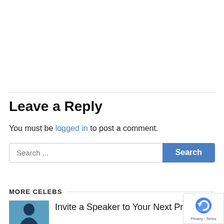[Figure (other): Close/dismiss button (X) in top left corner]
Leave a Reply
You must be logged in to post a comment.
[Figure (other): Search bar with text input placeholder 'Search ...' and a blue Search button]
MORE CELEBS
[Figure (photo): Small thumbnail photo of a person from behind, dark silhouette against blue background]
Invite a Speaker to Your Next Private...